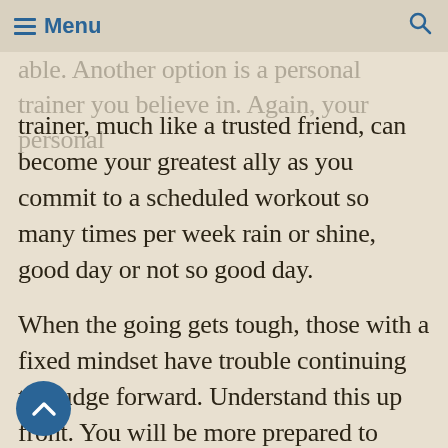Menu
able. Another option is a personal trainer you believe in. Again, your personal trainer, much like a trusted friend, can become your greatest ally as you commit to a scheduled workout so many times per week rain or shine, good day or not so good day.
When the going gets tough, those with a fixed mindset have trouble continuing to trudge forward. Understand this up front. You will be more prepared to counter negative self-talk if you are mindful of the fact that it will try to creep in and halt your progress. If lasting change is your goal visit past attempts for why they did not end in success and prepare solutions to overcome your own negativity. Seek knowledge, accountability, and